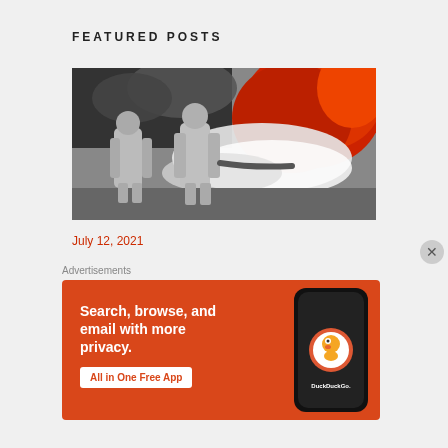FEATURED POSTS
[Figure (photo): Two firefighters in silver reflective suits spraying foam/water at a large fire with red flames and white smoke]
July 12, 2021
Advertisements
[Figure (screenshot): DuckDuckGo advertisement banner: 'Search, browse, and email with more privacy. All in One Free App' with DuckDuckGo logo on a phone on orange background]